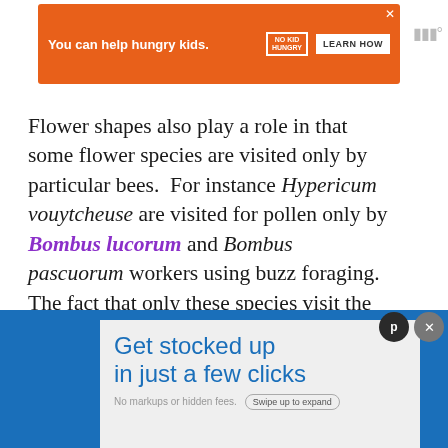[Figure (other): Orange advertisement banner: 'You can help hungry kids. No Kid Hungry — LEARN HOW']
Flower shapes also play a role in that some flower species are visited only by particular bees.  For instance Hypericum vouytcheuse are visited for pollen only by Bombus lucorum and Bombus pascuorum workers using buzz foraging.  The fact that only these species visit the plants minimises competition for the food reward offered.
[Figure (other): Bottom advertisement: 'Get stocked up in just a few clicks. No markups or hidden fees. Swipe up to expand']